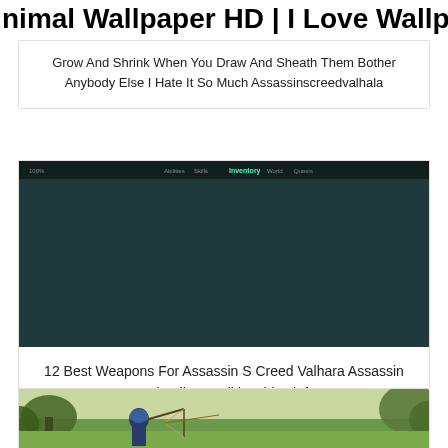nimal Wallpaper HD | I Love Wallpap
Grow And Shrink When You Draw And Sheath Them Bother Anybody Else I Hate It So Much Assassinscreedvalhala
[Figure (screenshot): Screenshot from Assassin's Creed Valhalla game showing Varin's Axe weapon stats screen with a golden axe displayed in the center, weapon info panel on the left showing attack, speed, stun, critical chance, weight stats, and upgrade/perks/runes panel on the right.]
12 Best Weapons For Assassin S Creed Valhara Assassin S Creed Valhara Wiki Guide Jioforme
[Figure (screenshot): Partial screenshot from Assassin's Creed Valhalla game showing a character in outdoor environment with trees and bright sky.]